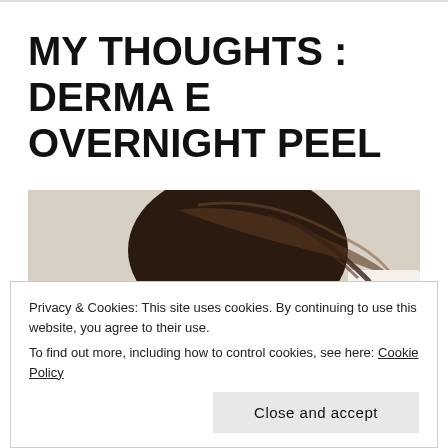MY THOUGHTS : DERMA E OVERNIGHT PEEL
[Figure (photo): A woman with dark hair pulled back, photographed from behind/side, looking downward. Beige/neutral background.]
Privacy & Cookies: This site uses cookies. By continuing to use this website, you agree to their use.
To find out more, including how to control cookies, see here: Cookie Policy
Close and accept